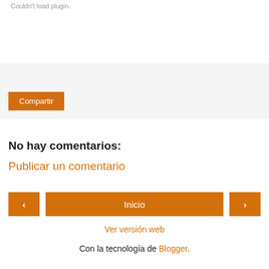Couldn't load plugin.
[Figure (other): Plugin placeholder / error area with grey background and Compartir (Share) button]
No hay comentarios:
Publicar un comentario
‹   Inicio   ›
Ver versión web
Con la tecnología de Blogger.